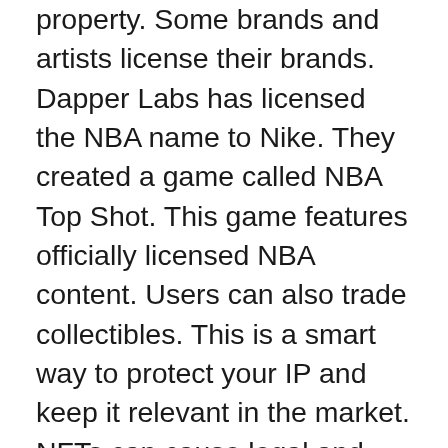property. Some brands and artists license their brands. Dapper Labs has licensed the NBA name to Nike. They created a game called NBA Top Shot. This game features officially licensed NBA content. Users can also trade collectibles. This is a smart way to protect your IP and keep it relevant in the market. NFTs can cause legal and brand problems if a copycat of your work is made.
In order to create NFTs, you need an Ethereum-based wallet. This wallet connects you to the marketplace. Next, you must sign a message in the wallet. Next, you need to add a description, image, and name. Once you have done this, you are ready for your first NFT. There are many different ways to create NFTs. This article will help you with